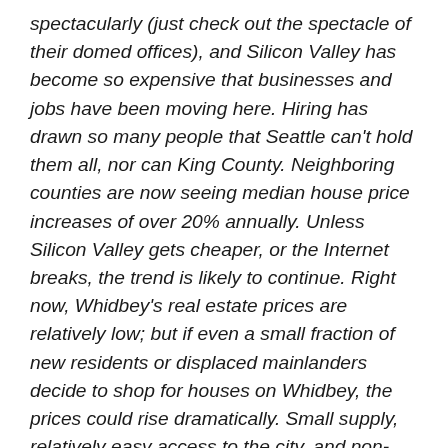spectacularly (just check out the spectacle of their domed offices), and Silicon Valley has become so expensive that businesses and jobs have been moving here. Hiring has drawn so many people that Seattle can't hold them all, nor can King County. Neighboring counties are now seeing median house price increases of over 20% annually. Unless Silicon Valley gets cheaper, or the Internet breaks, the trend is likely to continue. Right now, Whidbey's real estate prices are relatively low; but if even a small fraction of new residents or displaced mainlanders decide to shop for houses on Whidbey, the prices could rise dramatically. Small supply, relatively easy access to the city, and non-negotiable growth limits like water and septic could drive prices into unsustainable territory. One response is to allow unconventional housing options to become more conventional. Tiny houses drop the price by lowering the